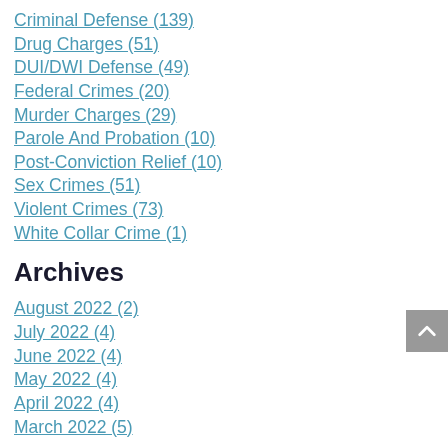Criminal Defense (139)
Drug Charges (51)
DUI/DWI Defense (49)
Federal Crimes (20)
Murder Charges (29)
Parole And Probation (10)
Post-Conviction Relief (10)
Sex Crimes (51)
Violent Crimes (73)
White Collar Crime (1)
Archives
August 2022 (2)
July 2022 (4)
June 2022 (4)
May 2022 (4)
April 2022 (4)
March 2022 (5)